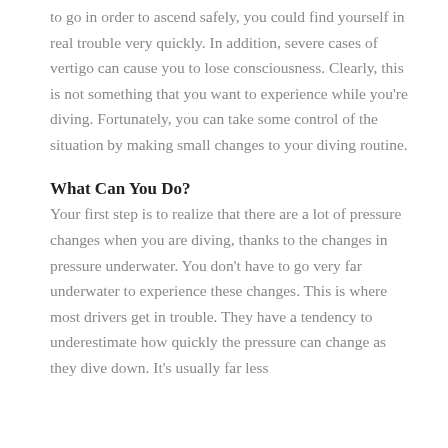to go in order to ascend safely, you could find yourself in real trouble very quickly. In addition, severe cases of vertigo can cause you to lose consciousness. Clearly, this is not something that you want to experience while you're diving. Fortunately, you can take some control of the situation by making small changes to your diving routine.
What Can You Do?
Your first step is to realize that there are a lot of pressure changes when you are diving, thanks to the changes in pressure underwater. You don't have to go very far underwater to experience these changes. This is where most drivers get in trouble. They have a tendency to underestimate how quickly the pressure can change as they dive down. It's usually far less